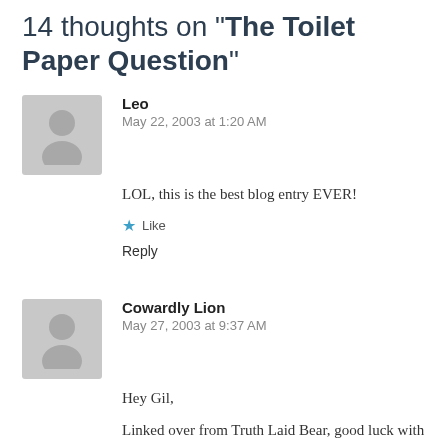14 thoughts on "The Toilet Paper Question"
[Figure (illustration): Default avatar placeholder — grey silhouette of a person on grey background]
Leo
May 22, 2003 at 1:20 AM
LOL, this is the best blog entry EVER!
Like
Reply
[Figure (illustration): Default avatar placeholder — grey silhouette of a person on grey background]
Cowardly Lion
May 27, 2003 at 9:37 AM
Hey Gil,
Linked over from Truth Laid Bear, good luck with your blog. You seem to write